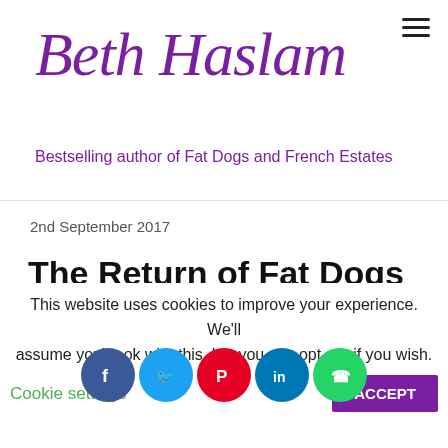Beth Haslam — Bestselling author of Fat Dogs and French Estates
2nd September 2017
The Return of Fat Dogs
[Figure (photo): Golden/tan gradient image, partial view of article cover image for 'The Return of Fat Dogs']
This website uses cookies to improve your experience. We'll assume you're ok with this, but you can opt-out if you wish.
Cookie settings   ACCEPT